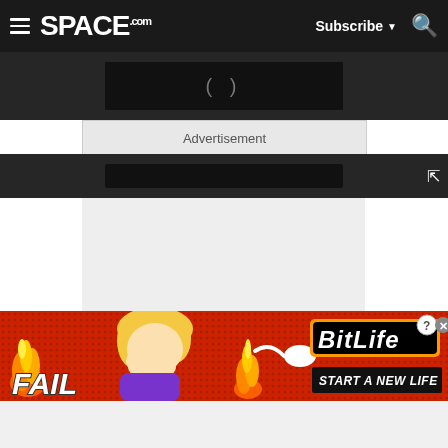SPACE.com — Subscribe | Search
[Figure (screenshot): Video player loading area with dark background and loading indicator brackets]
Advertisement
[Figure (screenshot): Video player bottom bar with dark background]
[Figure (screenshot): Grey content placeholder area for article/media content]
[Figure (illustration): BitLife advertisement banner with FAIL text, cartoon character facepalming, fire, sperm icon, BitLife logo, and START A NEW LIFE tagline]